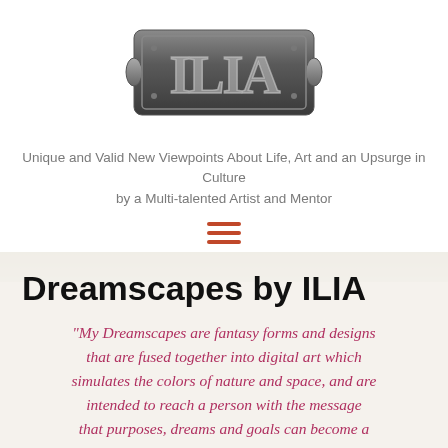[Figure (logo): ILIA logo — ornate metallic dark plaque with stylized letters ILIA in decorative script]
Unique and Valid New Viewpoints About Life, Art and an Upsurge in Culture by a Multi-talented Artist and Mentor
[Figure (illustration): Hamburger menu icon — three horizontal orange-red lines]
[Figure (photo): Background image visible at top of content section — muted earthy tones]
Dreamscapes by ILIA
“My Dreamscapes are fantasy forms and designs that are fused together into digital art which simulates the colors of nature and space, and are intended to reach a person with the message that purposes, dreams and goals can become a